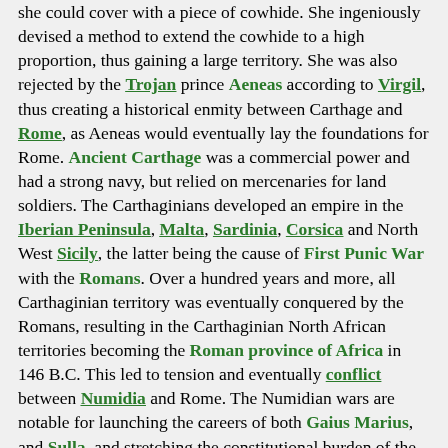she could cover with a piece of cowhide. She ingeniously devised a method to extend the cowhide to a high proportion, thus gaining a large territory. She was also rejected by the Trojan prince Aeneas according to Virgil, thus creating a historical enmity between Carthage and Rome, as Aeneas would eventually lay the foundations for Rome. Ancient Carthage was a commercial power and had a strong navy, but relied on mercenaries for land soldiers. The Carthaginians developed an empire in the Iberian Peninsula, Malta, Sardinia, Corsica and North West Sicily, the latter being the cause of First Punic War with the Romans. Over a hundred years and more, all Carthaginian territory was eventually conquered by the Romans, resulting in the Carthaginian North African territories becoming the Roman province of Africa in 146 B.C. This led to tension and eventually conflict between Numidia and Rome. The Numidian wars are notable for launching the careers of both Gaius Marius, and Sulla, and stretching the constitutional burden of the Roman republic as Marius required a professional army, something previously contrary to Roman values, to overcome the talented military leader Jugurtha. Kingdom of Mauretania remained independent until being annexed to the Roman Empire by Emperor